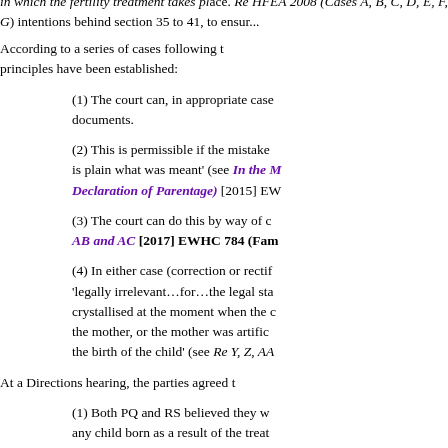in which the fertility treatment takes place. Re HFEA 2008 (Cases A, B, C, D, E, F, G) intentions behind section 35 to 41, to ensur...
According to a series of cases following these principles have been established:
(1) The court can, in appropriate cases, rectify documents.
(2) This is permissible if the mistake is plain what was meant' (see In the Matter of (Declaration of Parentage) [2015] EW...
(3) The court can do this by way of correction: AB and AC [2017] EWHC 784 (Fam...
(4) In either case (correction or rectification) 'legally irrelevant…for…the legal status crystallised at the moment when the consent the mother, or the mother was artificially inseminated before the birth of the child' (see Re Y, Z, AA...
At a Directions hearing, the parties agreed t...
(1) Both PQ and RS believed they would be any child born as a result of the treat...
(2) Both PQ and RS believed they ha...